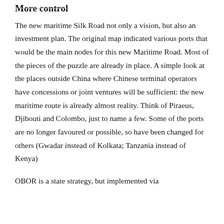More control
The new maritime Silk Road not only a vision, but also an investment plan. The original map indicated various ports that would be the main nodes for this new Maritime Road. Most of the pieces of the puzzle are already in place. A simple look at the places outside China where Chinese terminal operators have concessions or joint ventures will be sufficient: the new maritime route is already almost reality. Think of Piraeus, Djibouti and Colombo, just to name a few. Some of the ports are no longer favoured or possible, so have been changed for others (Gwadar instead of Kolkata; Tanzania instead of Kenya)
OBOR is a state strategy, but implemented via